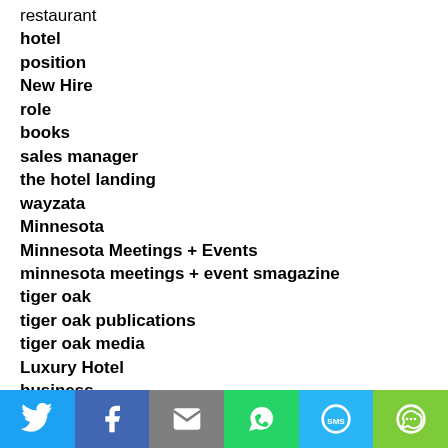restaurant
hotel
position
New Hire
role
books
sales manager
the hotel landing
wayzata
Minnesota
Minnesota Meetings + Events
minnesota meetings + event smagazine
tiger oak
tiger oak publications
tiger oak media
Luxury Hotel
business
commuity
hotel landing
vacation
tourism
[Figure (infographic): Social sharing bar with icons for Twitter, Facebook, Email, WhatsApp, SMS, and More]